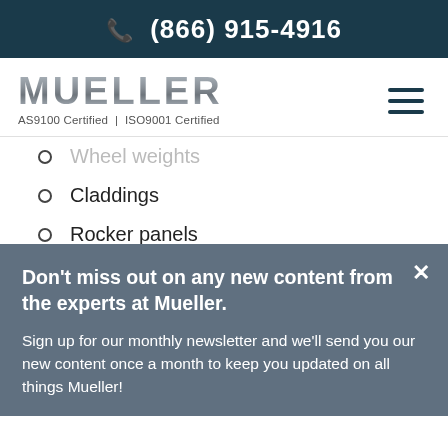(866) 915-4916
[Figure (logo): Mueller company logo with text 'AS9100 Certified | ISO9001 Certified' below]
Wheel weights
Claddings
Rocker panels
Don't miss out on any new content from the experts at Mueller.
Sign up for our monthly newsletter and we'll send you our new content once a month to keep you updated on all things Mueller!
Subscribe Now